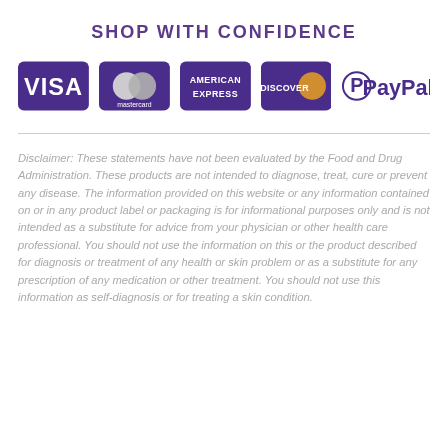SHOP WITH CONFIDENCE
[Figure (logo): Payment method logos: Visa, Mastercard, American Express, Discover, PayPal]
Disclaimer: These statements have not been evaluated by the Food and Drug Administration. These products are not intended to diagnose, treat, cure or prevent any disease. The information provided on this website or any information contained on or in any product label or packaging is for informational purposes only and is not intended as a substitute for advice from your physician or other health care professional. You should not use the information on this or the product described for diagnosis or treatment of any health or skin problem or as a substitute for any prescription of any medication or other treatment. You should not use this information as self-diagnosis or for treating a skin condition.